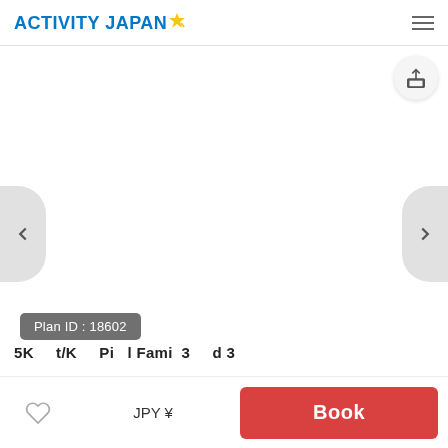ACTIVITY JAPAN
[Figure (screenshot): White/blank image area with navigation arrows on left and right, share button top right, Plan ID badge overlay]
Plan ID : 18602
5K... ...t/K... ...Pi... ...l Fami... 3... ...d 3...
JPY ¥
Book